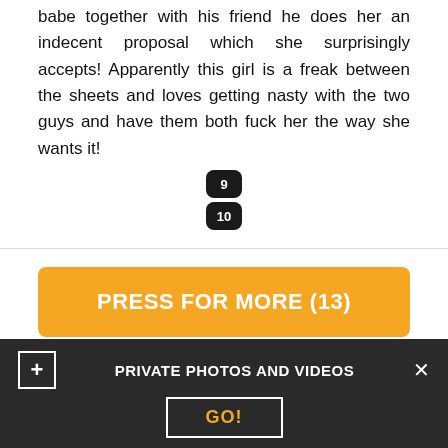babe together with his friend he does her an indecent proposal which she surprisingly accepts! Apparently this girl is a freak between the sheets and loves getting nasty with the two guys and have them both fuck her the way she wants it!
9
10
PRESS FOR MORE (13)
[Figure (illustration): Thumbs up icon, thumbs down icon, and X icon for rating, with 80% label]
Comments (9)
PRIVATE PHOTOS AND VIDEOS
GO!